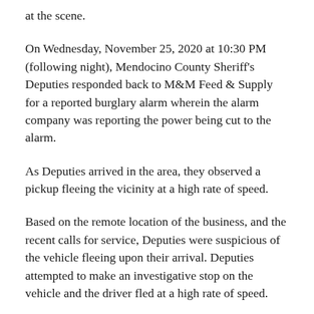at the scene.
On Wednesday, November 25, 2020 at 10:30 PM (following night), Mendocino County Sheriff's Deputies responded back to M&M Feed & Supply for a reported burglary alarm wherein the alarm company was reporting the power being cut to the alarm.
As Deputies arrived in the area, they observed a pickup fleeing the vicinity at a high rate of speed.
Based on the remote location of the business, and the recent calls for service, Deputies were suspicious of the vehicle fleeing upon their arrival. Deputies attempted to make an investigative stop on the vehicle and the driver fled at a high rate of speed.
The driver attempted to evade the Deputies for approximately 5 minutes until his vehicle became